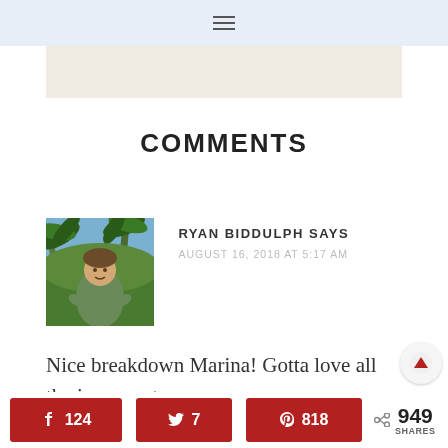≡ (hamburger menu)
COMMENTS
[Figure (photo): Photo of Ryan Biddulph standing outdoors with palm trees in background, wearing a green shirt]
RYAN BIDDULPH SAYS
AUGUST 16, 2018 AT 5:17 AM
Nice breakdown Marina! Gotta love all the income streams
Facebook 124 | Twitter 7 | Pinterest 818 | < 949 SHARES